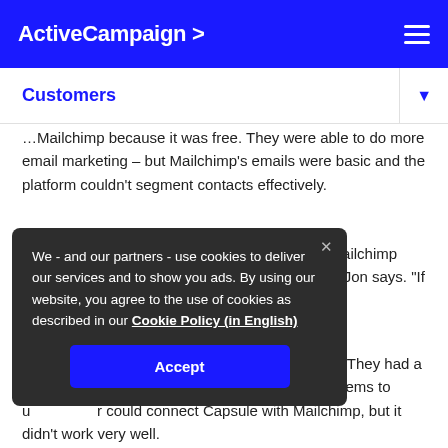ActiveCampaign >
Customers
...Mailchimp because it was free. They were able to do more email marketing – but Mailchimp's emails were basic and the platform couldn't segment contacts effectively.
"One of the things I couldn't stand about Mailchimp was that you couldn't segment on every contact," Jon says. "If you had multiple lists, it was like you had ten copies of each contact going over and over."
TSRE also struggled with their CRM, Capsule. They had a lot of data about their contacts, but had to juggle their systems to use any of it. Zapier could connect Capsule with Mailchimp, but it didn't work very well.
We - and our partners - use cookies to deliver our services and to show you ads. By using our website, you agree to the use of cookies as described in our Cookie Policy (in English)